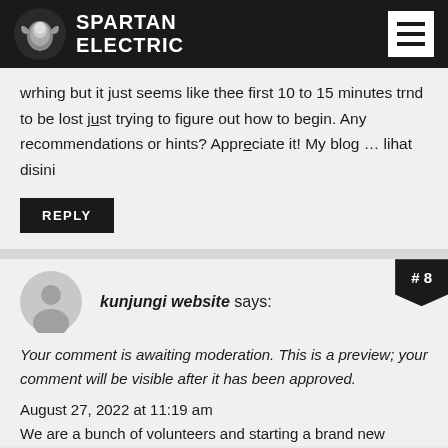SPARTAN ELECTRIC
wrhing but it just seems like thee first 10 to 15 minutes trnd to be lost jüst trying to figure out how to begin. Any recommendations or hints? Apprüciate it! My blog … lihat disini
REPLY
#8
kunjungi website says:
Your comment is awaiting moderation. This is a preview; your comment will be visible after it has been approved.
August 27, 2022 at 11:19 am
We are a bunch of volunteers and starting a brand new